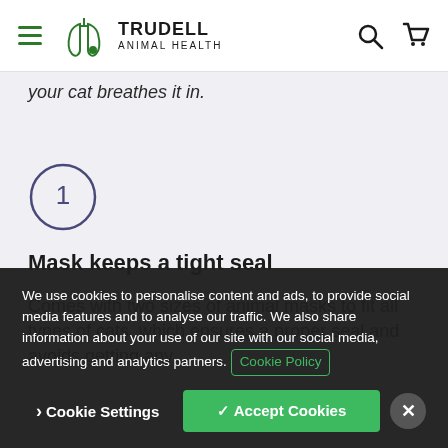TRUDELL ANIMAL HEALTH
your cat breathes it in.
[Figure (illustration): Circle with number 1 inside, dark purple outline]
Mask keeps a tight seal
Comes with two sizes of animal masks to fit all types of cats, which ensures a proper seal and avoids getting any
We use cookies to personalise content and ads, to provide social media features and to analyse our traffic. We also share information about your use of our site with our social media, advertising and analytics partners. Cookie Policy
Cookie Settings
✓ Accept Cookies